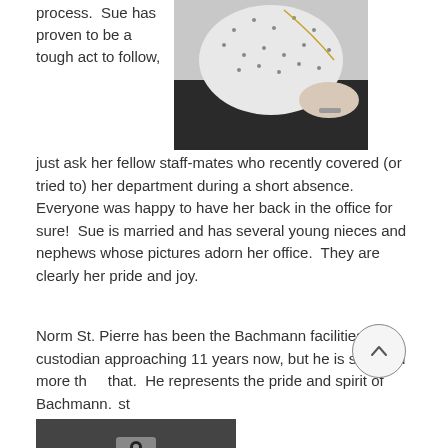process.  Sue has proven to be a tough act to follow, just ask her fellow staff-mates who recently covered (or tried to) her department during a short absence.  Everyone was happy to have her back in the office for sure!  Sue is married and has several young nieces and nephews whose pictures adorn her office.  They are clearly her pride and joy.
[Figure (photo): Photo of a woman in a white polka-dot blouse]
Norm St. Pierre has been the Bachmann facilities custodian approaching 11 years now, but he is so much more than that.  He represents the pride and spirit of Bachmann.  Just like 'Norm'
[Figure (photo): Bottom photo, partially visible]